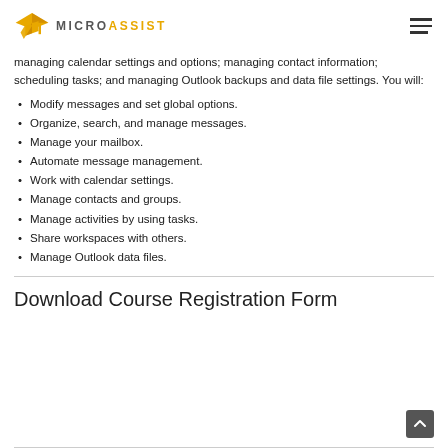MICROASSIST
managing calendar settings and options; managing contact information; scheduling tasks; and managing Outlook backups and data file settings. You will:
Modify messages and set global options.
Organize, search, and manage messages.
Manage your mailbox.
Automate message management.
Work with calendar settings.
Manage contacts and groups.
Manage activities by using tasks.
Share workspaces with others.
Manage Outlook data files.
Download Course Registration Form